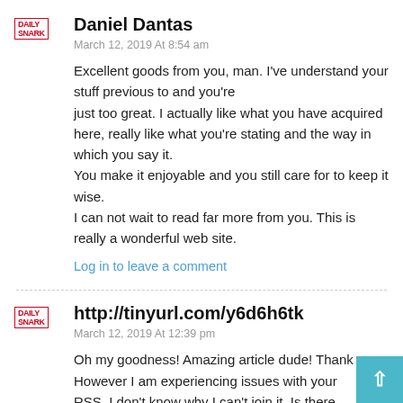Daniel Dantas
March 12, 2019 At 8:54 am
Excellent goods from you, man. I've understand your stuff previous to and you're just too great. I actually like what you have acquired here, really like what you're stating and the way in which you say it.
You make it enjoyable and you still care for to keep it wise.
I can not wait to read far more from you. This is really a wonderful web site.
Log in to leave a comment
http://tinyurl.com/y6d6h6tk
March 12, 2019 At 12:39 pm
Oh my goodness! Amazing article dude! Thank you, However I am experiencing issues with your RSS. I don't know why I can't join it. Is there anybody getting identical RSS issues?